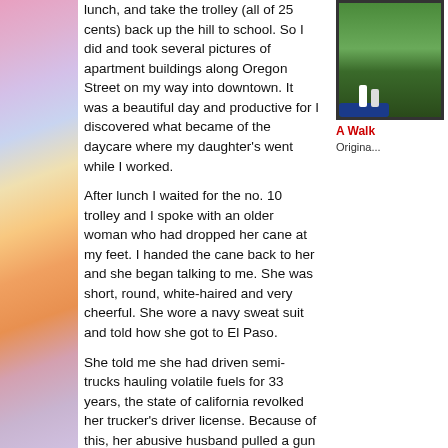lunch, and take the trolley (all of 25 cents) back up the hill to school. So I did and took several pictures of apartment buildings along Oregon Street on my way into downtown. It was a beautiful day and productive for I discovered what became of the daycare where my daughter's went while I worked.
[Figure (photo): Outdoor photo showing trees and figures near a car, framed with dark border]
A Walk... Original...
After lunch I waited for the no. 10 trolley and I spoke with an older woman who had dropped her cane at my feet. I handed the cane back to her and she began talking to me. She was short, round, white-haired and very cheerful. She wore a navy sweat suit and told how she got to El Paso.
She told me she had driven semi-trucks hauling volatile fuels for 33 years, the state of california revolked her trucker's driver license. Because of this, her abusive husband pulled a gun on her one night.
After she calmed him down, she told him she was going to take a walk and did, but she also didn't return; she just kept going. She hitchhiked to El Paso since, which to me sounded like it had been at least 3 years. She doesn't drive or takes the bus. She said that she has taken about five or six computer classes, said this to me she beamed with pride. She also said that on Sundays she walks to truck terminals at the edge of town so she can attend the "trucker's service".
I don't care about whether or not she goes to church, but I do know that I enjoyed my walk downtown yesterday. Although I'm sure Dr. L. would rather i stayed...